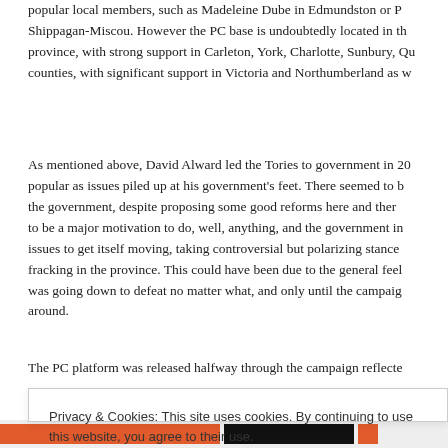popular local members, such as Madeleine Dube in Edmundston or PC Shippagan-Miscou. However the PC base is undoubtedly located in the province, with strong support in Carleton, York, Charlotte, Sunbury, Queens counties, with significant support in Victoria and Northumberland as well.
As mentioned above, David Alward led the Tories to government in 2010 but became unpopular as issues piled up at his government's feet. There seemed to be a paralysis in the government, despite proposing some good reforms here and there, there did not seem to be a major motivation to do, well, anything, and the government instead used wedge issues to get itself moving, taking controversial but polarizing stances such as allowing fracking in the province. This could have been due to the general feeling that the government was going down to defeat no matter what, and only until the campaign did they start turning around.
The PC platform was released halfway through the campaign reflected
Privacy & Cookies: This site uses cookies. By continuing to use this website, you agree to their use.
To find out more, including how to control cookies, see here: Cookie Policy
Close and accept